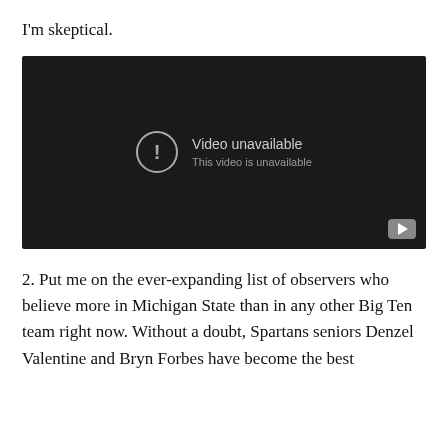I'm skeptical.
[Figure (screenshot): Embedded video player showing 'Video unavailable. This video is unavailable.' message on a dark background with a YouTube play button icon in the bottom right corner.]
2. Put me on the ever-expanding list of observers who believe more in Michigan State than in any other Big Ten team right now. Without a doubt, Spartans seniors Denzel Valentine and Bryn Forbes have become the best